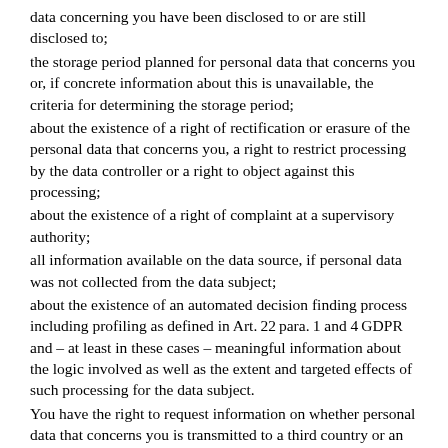data concerning you have been disclosed to or are still disclosed to;
the storage period planned for personal data that concerns you or, if concrete information about this is unavailable, the criteria for determining the storage period;
about the existence of a right of rectification or erasure of the personal data that concerns you, a right to restrict processing by the data controller or a right to object against this processing;
about the existence of a right of complaint at a supervisory authority;
all information available on the data source, if personal data was not collected from the data subject;
about the existence of an automated decision finding process including profiling as defined in Art. 22 para. 1 and 4 GDPR and – at least in these cases – meaningful information about the logic involved as well as the extent and targeted effects of such processing for the data subject.
You have the right to request information on whether personal data that concerns you is transmitted to a third country or an international organization. In this context, you can request to be informed about suitable guarantees as defined in Art. 46 GDPR in the context of the transmission.
2. RIGHT TO RECTIFICATION
You have the right to rectification and/or completion by the